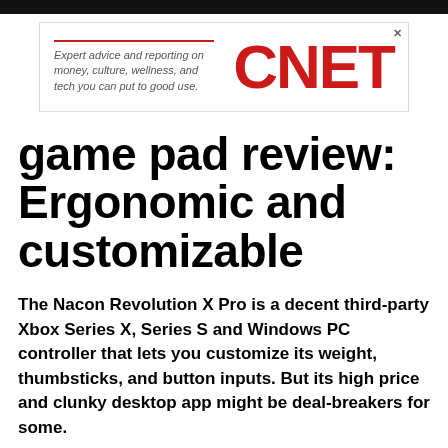[Figure (logo): CNET advertisement banner with red border line and tagline 'Expert advice and reporting on money, culture, wellness, and tech you can put to good use.' with large CNET logo in red]
game pad review: Ergonomic and customizable
The Nacon Revolution X Pro is a decent third-party Xbox Series X, Series S and Windows PC controller that lets you customize its weight, thumbsticks, and button inputs. But its high price and clunky desktop app might be deal-breakers for some.
Written by Taylor Clemons, Staff Writer
on Aug. 8, 2022
Reviewed by Kelsey Adams